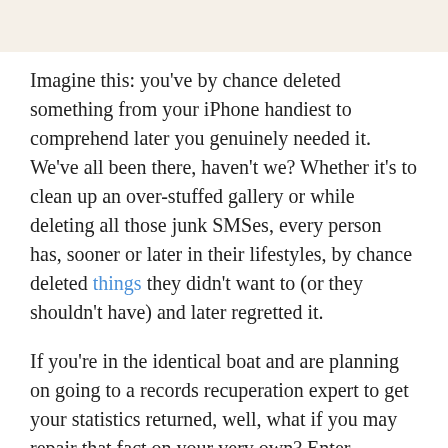Imagine this: you've by chance deleted something from your iPhone handiest to comprehend later you genuinely needed it. We've all been there, haven't we? Whether it's to clean up an over-stuffed gallery or while deleting all those junk SMSes, every person has, sooner or later in their lifestyles, by chance deleted things they didn't want to (or they shouldn't have) and later regretted it.
If you're in the identical boat and are planning on going to a records recuperation expert to get your statistics returned, well, what if you may repair that fact on your very own? Enter Joyoshare iPhone Data Recovery. An information recovery solution to let you get better almost all kinds of misplaced records out of your iPhone. Let me take you thru the features of this nifty